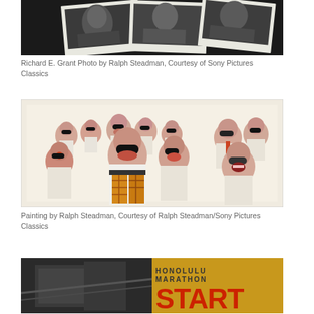[Figure (photo): Polaroid-style black and white photographs of Richard E. Grant, shot by Ralph Steadman, arranged overlapping on a dark background]
Richard E. Grant Photo by Ralph Steadman, Courtesy of Sony Pictures Classics
[Figure (illustration): Cartoon painting by Ralph Steadman showing a crowd of caricatured bald men with sunglasses and mustaches, wearing white shirts; one figure in foreground wears plaid trousers]
Painting by Ralph Steadman, Courtesy of Ralph Steadman/Sony Pictures Classics
[Figure (photo): Two-part photograph: left side shows a dark architectural or interior scene; right side shows a yellow Honolulu Marathon START banner/sign]